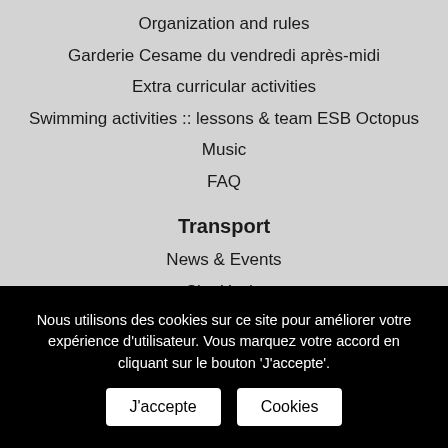Organization and rules
Garderie Cesame du vendredi après-midi
Extra curricular activities
Swimming activities :: lessons & team ESB Octopus
Music
FAQ
Transport
News & Events
Site Uccle
Berkendael Site
General Information & Rules
Nous utilisons des cookies sur ce site pour améliorer votre expérience d'utilisateur. Vous marquez votre accord en cliquant sur le bouton 'J'accepte'.
J'accepte | Cookies